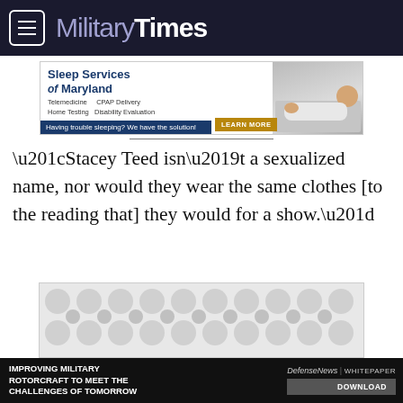MilitaryTimes
[Figure (screenshot): Sleep Services of Maryland advertisement banner with text: Telemedicine, Home Testing, CPAP Delivery, Disability Evaluation. 'Having trouble sleeping? We have the solution!' with a LEARN MORE button and photo of person sleeping.]
“Stacey Teed isn’t a sexualized name, nor would they wear the same clothes [to the reading that] they would for a show.”
[Figure (screenshot): Gray patterned advertisement placeholder banner]
[Figure (screenshot): DefenseNews whitepaper ad: IMPROVING MILITARY ROTORCRAFT TO MEET THE CHALLENGES OF TOMORROW with DOWNLOAD button]